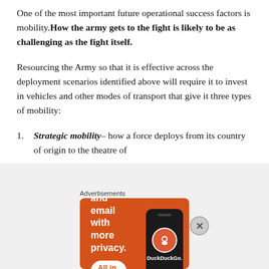One of the most important future operational success factors is mobility. How the army gets to the fight is likely to be as challenging as the fight itself.
Resourcing the Army so that it is effective across the deployment scenarios identified above will require it to invest in vehicles and other modes of transport that give it three types of mobility:
Strategic mobility – how a force deploys from its country of origin to the theatre of
[Figure (screenshot): DuckDuckGo advertisement banner with orange background reading 'Search, browse, and email with more privacy. All in One Free App' with a phone image and DuckDuckGo logo]
Advertisements